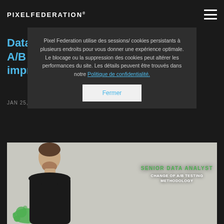PIXELFEDERATION
Data Scientists are the A/B testing advocates and how it improve our work
JAN 25, 2019 IN DATA S
Pixel Federation utilise des sessions/ cookies persistants à plusieurs endroits pour vous donner une expérience optimale. Le blocage ou la suppression des cookies peut altérer les performances du site. Les détails peuvent être trouvés dans notre Politique de confidentialité.
Fermer
[Figure (photo): Person (senior data analyst) with green paint splat background, text overlay reading SENIOR DATA ANALYST / CHANGE OF A/B TESTING METHODOLOGY]